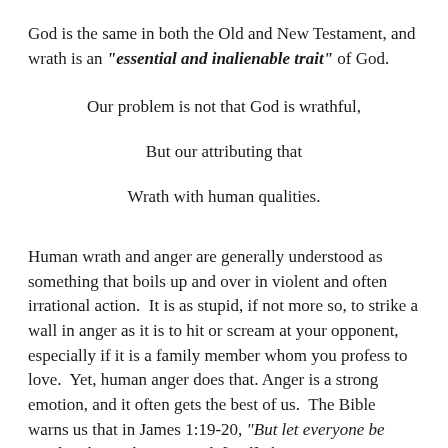God is the same in both the Old and New Testament, and wrath is an “essential and inalienable trait” of God.
Our problem is not that God is wrathful,
But our attributing that
Wrath with human qualities.
Human wrath and anger are generally understood as something that boils up and over in violent and often irrational action.  It is as stupid, if not more so, to strike a wall in anger as it is to hit or scream at your opponent, especially if it is a family member whom you profess to love.  Yet, human anger does that.  Anger is a strong emotion, and it often gets the best of us.  The Bible warns us that in James 1:19-20, “But let everyone be quick to hear, slow to speak [and] slow to